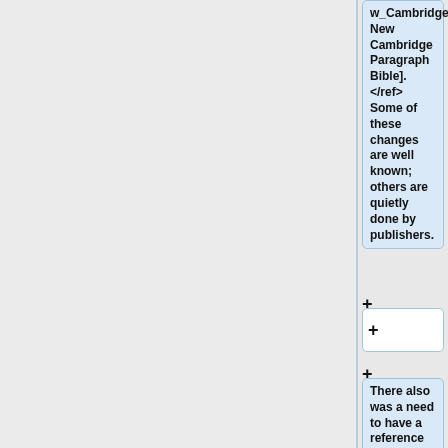w_Cambridge_Paragraph_Bible New Cambridge Paragraph Bible].</ref> Some of these changes are well known; others are quietly done by publishers.
There also was a need to have a reference for red-letter text. This too varied from one modern KJV to another.